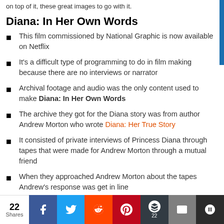on top of it, these great images to go with it.
Diana: In Her Own Words
This film commissioned by National Graphic is now available on Netflix
It's a difficult type of programming to do in film making because there are no interviews or narrator
Archival footage and audio was the only content used to make Diana: In Her Own Words
The archive they got for the Diana story was from author Andrew Morton who wrote Diana: Her True Story
It consisted of private interviews of Princess Diana through tapes that were made for Andrew Morton through a mutual friend
When they approached Andrew Morton about the tapes Andrew's response was get in line
Tom explained this would be a film about Diana, narrated
22 Shares | Facebook | Twitter | Reddit | Pinterest | Buffer | Email | Crown